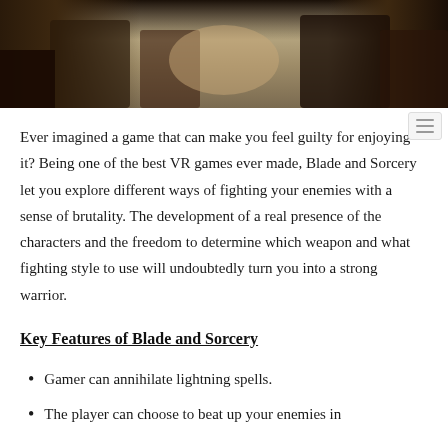[Figure (photo): Top portion of a photo showing dark-clad figures on a sandy/earthy background, appearing to be a scene from the VR game Blade and Sorcery]
Ever imagined a game that can make you feel guilty for enjoying it? Being one of the best VR games ever made, Blade and Sorcery let you explore different ways of fighting your enemies with a sense of brutality. The development of a real presence of the characters and the freedom to determine which weapon and what fighting style to use will undoubtedly turn you into a strong warrior.
Key Features of Blade and Sorcery
Gamer can annihilate lightning spells.
The player can choose to beat up your enemies in